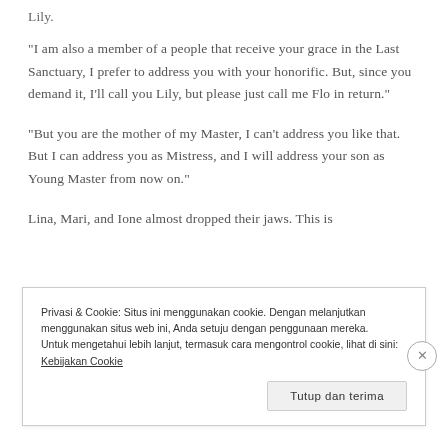Lily.
“I am also a member of a people that receive your grace in the Last Sanctuary, I prefer to address you with your honorific. But, since you demand it, I’ll call you Lily, but please just call me Flo in return.”
“But you are the mother of my Master, I can’t address you like that. But I can address you as Mistress, and I will address your son as Young Master from now on.”
Lina, Mari, and Ione almost dropped their jaws. This is
Privasi & Cookie: Situs ini menggunakan cookie. Dengan melanjutkan menggunakan situs web ini, Anda setuju dengan penggunaan mereka.
Untuk mengetahui lebih lanjut, termasuk cara mengontrol cookie, lihat di sini: Kebijakan Cookie
Tutup dan terima